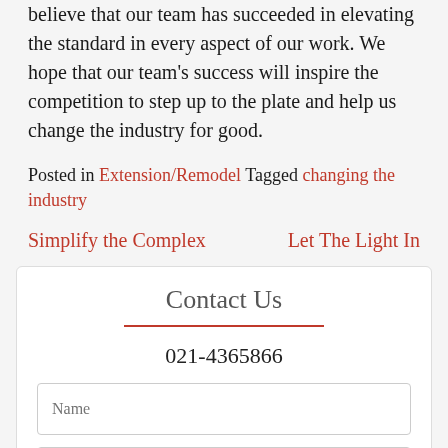believe that our team has succeeded in elevating the standard in every aspect of our work. We hope that our team's success will inspire the competition to step up to the plate and help us change the industry for good.
Posted in Extension/Remodel Tagged changing the industry
Simplify the Complex   Let The Light In
Contact Us
021-4365866
Name
Email